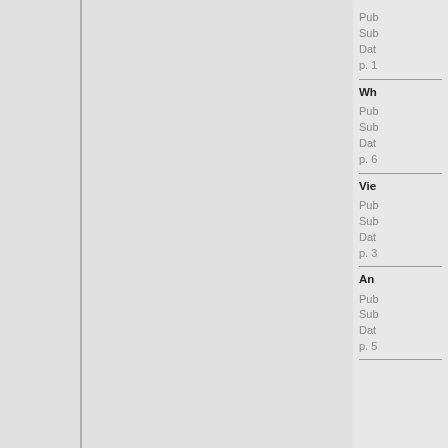Pub
Sub
Dat
p. 1
Wh
Pub
Sub
Dat
p. 6
Vie
Pub
Sub
Dat
p. 3
An
Pub
Sub
Dat
p. 5